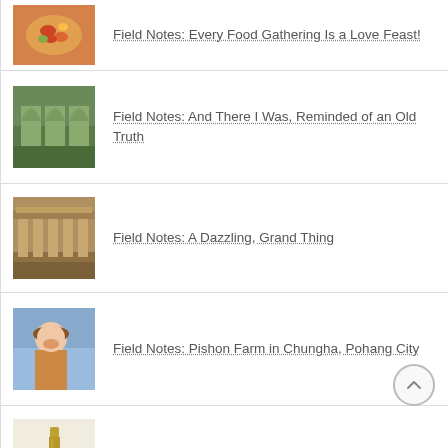Field Notes: Every Food Gathering Is a Love Feast!
Field Notes: And There I Was, Reminded of an Old Truth
Field Notes: A Dazzling, Grand Thing
Field Notes: Pishon Farm in Chungha, Pohang City
Field Notes: The Calligrapher and The Writer
Field Notes: Jeju Stone Park (제주돌문화공원)
Field Notes: The Inspiration For Gukie